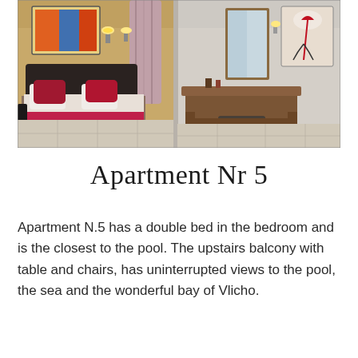[Figure (photo): Interior photo of a hotel/apartment bedroom showing a double bed with red and pink pillows and bedding, wall art above the headboard, wall lamps, a wooden dressing table with mirror, a painting of a woman with an umbrella, curtains, and tiled floor.]
Apartment Nr 5
Apartment N.5 has a double bed in the bedroom and is the closest to the pool. The upstairs balcony with table and chairs, has uninterrupted views to the pool, the sea and the wonderful bay of Vlicho.